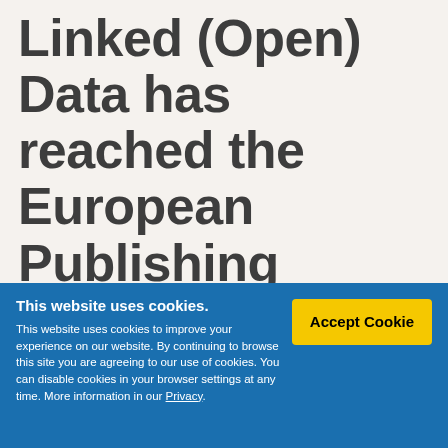Linked (Open) Data has reached the European Publishing Industry – but is it the 'Real Linked Data' – a short review on the Publishing...
This website uses cookies. This website uses cookies to improve your experience on our website. By continuing to browse this site you are agreeing to our use of cookies. You can disable cookies in your browser settings at any time. More information in our Privacy.